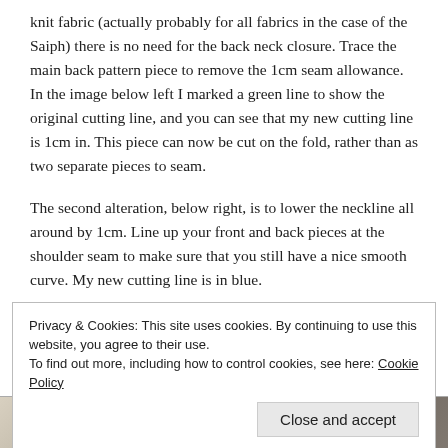knit fabric (actually probably for all fabrics in the case of the Saiph) there is no need for the back neck closure. Trace the main back pattern piece to remove the 1cm seam allowance. In the image below left I marked a green line to show the original cutting line, and you can see that my new cutting line is 1cm in. This piece can now be cut on the fold, rather than as two separate pieces to seam.
The second alteration, below right, is to lower the neckline all around by 1cm. Line up your front and back pieces at the shoulder seam to make sure that you still have a nice smooth curve. My new cutting line is in blue.
Privacy & Cookies: This site uses cookies. By continuing to use this website, you agree to their use.
To find out more, including how to control cookies, see here: Cookie Policy
[Figure (photo): Two photos at the bottom of the page showing fabric/pattern pieces]